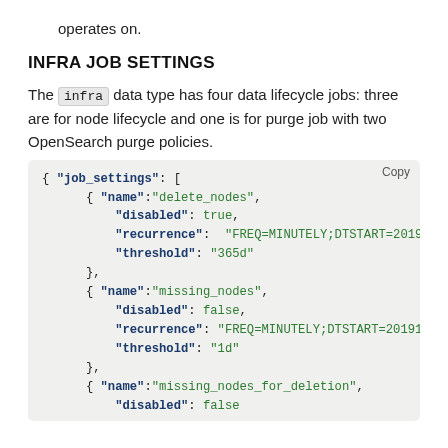operates on.
INFRA JOB SETTINGS
The infra data type has four data lifecycle jobs: three are for node lifecycle and one is for purge job with two OpenSearch purge policies.
[Figure (screenshot): JSON code block showing job_settings array with entries for delete_nodes, missing_nodes, and missing_nodes_for_deletion with their disabled, recurrence, and threshold properties.]